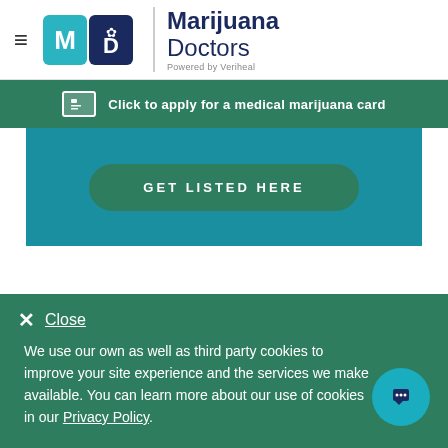[Figure (logo): Marijuana Doctors logo with MD icon and 'Powered by Veriheal' tagline]
[Figure (infographic): Green banner with ID card icon: Click to apply for a medical marijuana card]
[Figure (infographic): Teal section with GET LISTED HERE button]
As Seen On:
✕ Close
We use our own as well as third party cookies to improve your site experience and the services we make available. You can learn more about our use of cookies in our Privacy Policy.